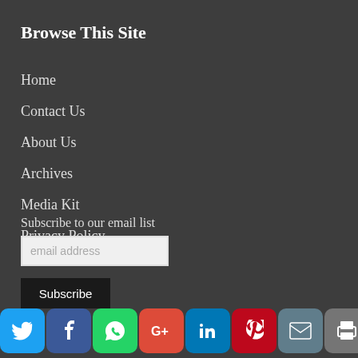Browse This Site
Home
Contact Us
About Us
Archives
Media Kit
Privacy Policy
Subscribe to our email list
email address
Subscribe